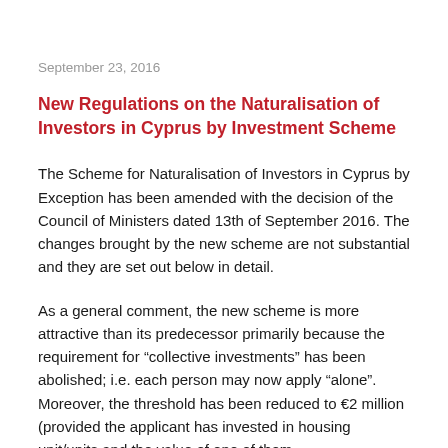September 23, 2016
New Regulations on the Naturalisation of Investors in Cyprus by Investment Scheme
The Scheme for Naturalisation of Investors in Cyprus by Exception has been amended with the decision of the Council of Ministers dated 13th of September 2016. The changes brought by the new scheme are not substantial and they are set out below in detail.
As a general comment, the new scheme is more attractive than its predecessor primarily because the requirement for “collective investments” has been abolished; i.e. each person may now apply “alone”. Moreover, the threshold has been reduced to €2 million (provided the applicant has invested in housing unit/units and the value of one of them